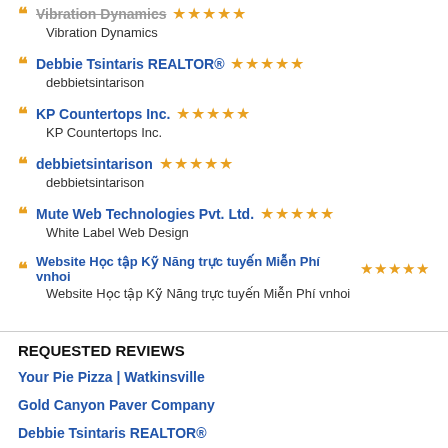Vibration Dynamics ★★★★★
Vibration Dynamics
Debbie Tsintaris REALTOR® ★★★★★
debbietsintarison
KP Countertops Inc. ★★★★★
KP Countertops Inc.
debbietsintarison ★★★★★
debbietsintarison
Mute Web Technologies Pvt. Ltd. ★★★★★
White Label Web Design
Website Học tập Kỹ Năng trực tuyến Miễn Phí vnhoi ★★★★★
Website Học tập Kỹ Năng trực tuyến Miễn Phí vnhoi
REQUESTED REVIEWS
Your Pie Pizza | Watkinsville
Gold Canyon Paver Company
Debbie Tsintaris REALTOR®
Techy Ninjas
EasyCash Texas